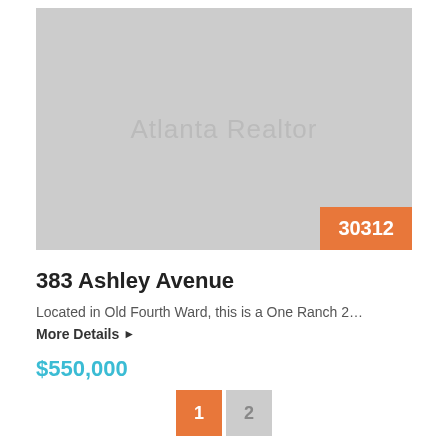[Figure (photo): Placeholder property photo with 'Atlanta Realtor' watermark text on gray background. Orange badge in bottom-right corner shows zip code '30312'.]
383 Ashley Avenue
Located in Old Fourth Ward, this is a One Ranch 2…
More Details ▶
$550,000
1  2